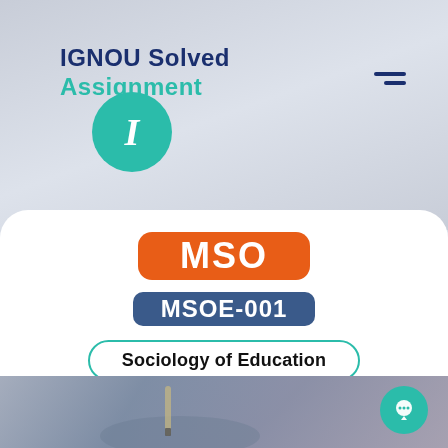[Figure (logo): IGNOU Solved Assignment logo with teal circle containing white italic I, and text 'IGNOU Solved Assignment' in navy/teal]
MSO
MSOE-001
Sociology of Education
[Figure (photo): Partial photo of a student writing, visible at bottom of page]